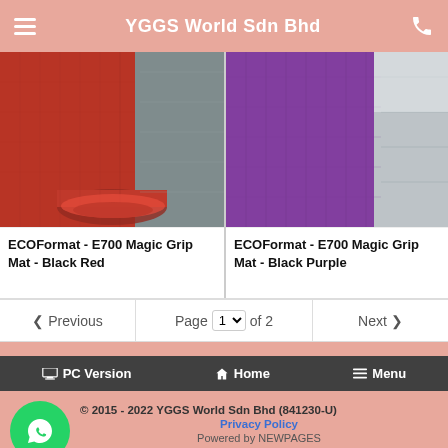YGGS World Sdn Bhd
[Figure (photo): Close-up photo of a red carpet mat rolled partially to show red fibers on top and gray backing underneath]
ECOFormat - E700 Magic Grip Mat - Black Red
[Figure (photo): Close-up photo of a purple carpet mat showing purple fibers with white/gray area visible]
ECOFormat - E700 Magic Grip Mat - Black Purple
Previous   Page 1 of 2   Next
PC Version   Home   Menu
© 2015 - 2022 YGGS World Sdn Bhd (841230-U) Privacy Policy Powered by NEWPAGES Visitors: 1849680